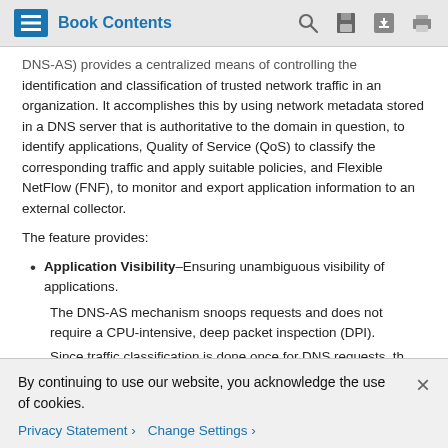Book Contents
DNS-AS) provides a centralized means of controlling the identification and classification of trusted network traffic in an organization. It accomplishes this by using network metadata stored in a DNS server that is authoritative to the domain in question, to identify applications, Quality of Service (QoS) to classify the corresponding traffic and apply suitable policies, and Flexible NetFlow (FNF), to monitor and export application information to an external collector.
The feature provides:
Application Visibility–Ensuring unambiguous visibility of applications.
The DNS-AS mechanism snoops requests and does not require a CPU-intensive, deep packet inspection (DPI).
Since traffic classification is done once for DNS requests, the...
By continuing to use our website, you acknowledge the use of cookies.
Privacy Statement > Change Settings >